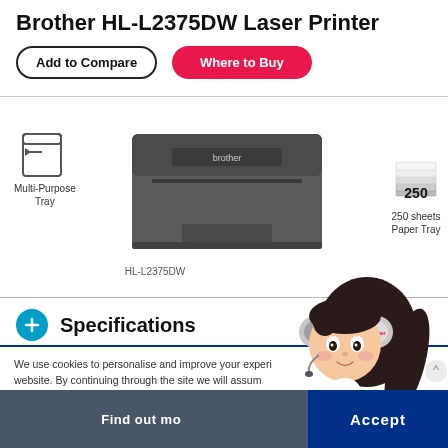Brother HL-L2375DW Laser Printer
Add to Compare
Where to Buy
[Figure (photo): Brother HL-L2375DW laser printer with Multi-Purpose Tray label on left and 250 sheets Paper Tray label on right, model number HL-L2375DW shown below]
Specifications
We use cookies to personalise and improve your experience when using this website. By continuing through the site we will assume you are accepting cookies. To find out more, click here.
Downloads & Resources
Find out more.
Accept